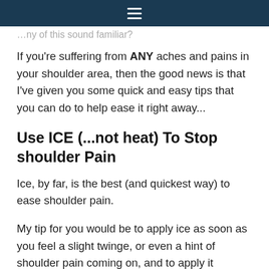…ny of this sound familiar?
If you're suffering from ANY aches and pains in your shoulder area, then the good news is that I've given you some quick and easy tips that you can do to help ease it right away...
Use ICE (...not heat) To Stop shoulder Pain
Ice, by far, is the best (and quickest way) to ease shoulder pain.
My tip for you would be to apply ice as soon as you feel a slight twinge, or even a hint of shoulder pain coming on, and to apply it whenever you're feeling achy or painful; such as